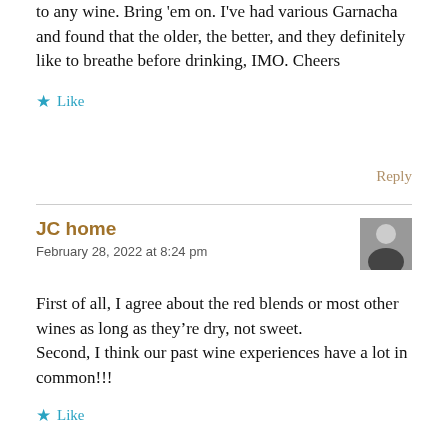to any wine. Bring 'em on. I've had various Garnacha and found that the older, the better, and they definitely like to breathe before drinking, IMO. Cheers
Like
Reply
JC home
February 28, 2022 at 8:24 pm
First of all, I agree about the red blends or most other wines as long as they’re dry, not sweet.
Second, I think our past wine experiences have a lot in common!!!
Like